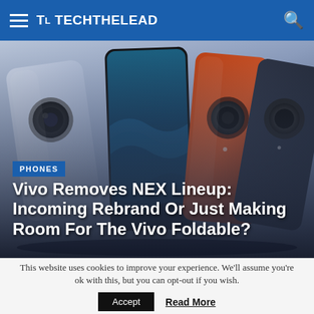TL TECHTHELEAD
[Figure (photo): Three Vivo NEX smartphones shown from behind — one silver/blue, one with active display showing ocean waves, one orange, and one dark navy — displayed side by side against a light blue-grey gradient background.]
Vivo Removes NEX Lineup: Incoming Rebrand Or Just Making Room For The Vivo Foldable?
This website uses cookies to improve your experience. We'll assume you're ok with this, but you can opt-out if you wish.
Accept  Read More